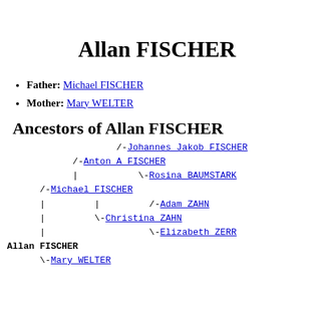Allan FISCHER
Father: Michael FISCHER
Mother: Mary WELTER
Ancestors of Allan FISCHER
/-Johannes Jakob FISCHER
/-Anton A FISCHER
| \-Rosina BAUMSTARK
/-Michael FISCHER
| | /-Adam ZAHN
| \-Christina ZAHN
| \-Elizabeth ZERR
Allan FISCHER
\-Mary WELTER